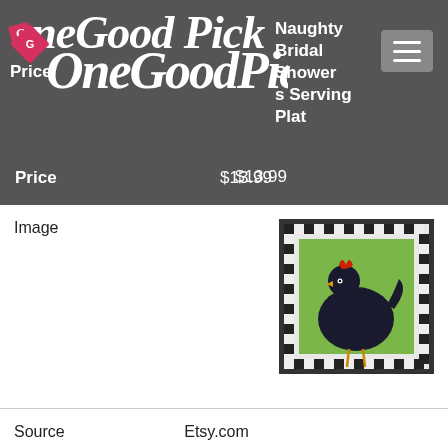One Good Pick
Naughty Bridal Shower s Serving Plat
Price $13.99
| Field | Value |
| --- | --- |
| Image | (product image - trivet) |
| Source | Etsy.com |
| Location | n/a |
| Posted | n/a |
| Title | Black Hen On Green Trivet - Best Seller |
| Price | $26.00 |
| Image | (product image - rooster item) |